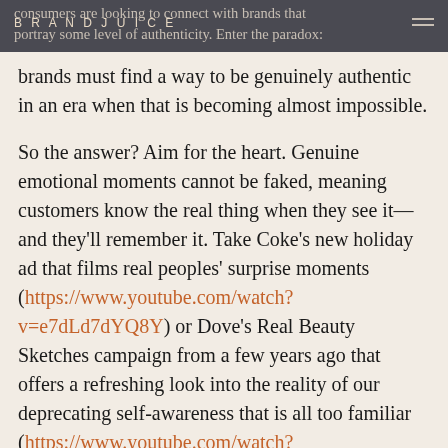BRANDJUICE
consumers are looking to connect with brands that portray some level of authenticity. Enter the paradox: brands must find a way to be genuinely authentic in an era when that is becoming almost impossible.
So the answer? Aim for the heart. Genuine emotional moments cannot be faked, meaning customers know the real thing when they see it—and they'll remember it. Take Coke's new holiday ad that films real peoples' surprise moments (https://www.youtube.com/watch?v=e7dLd7dYQ8Y) or Dove's Real Beauty Sketches campaign from a few years ago that offers a refreshing look into the reality of our deprecating self-awareness that is all too familiar (https://www.youtube.com/watch?v=litXW91UauE). There is a rawness—an element of vulnerability and transparent exposure to the moments within these campaigns that make them remarkable, yet completely relatable at the same time.